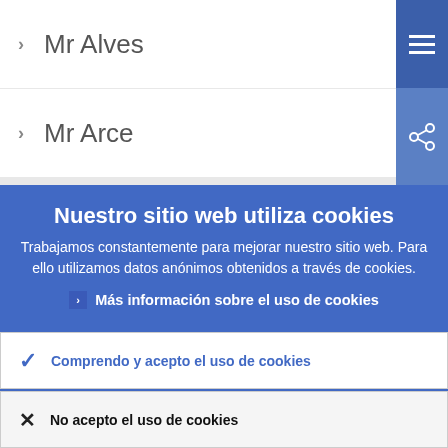> Mr Alves
> Mr Arce
Nuestro sitio web utiliza cookies
Trabajamos constantemente para mejorar nuestro sitio web. Para ello utilizamos datos anónimos obtenidos a través de cookies.
> Más información sobre el uso de cookies
✓ Comprendo y acepto el uso de cookies
✗ No acepto el uso de cookies